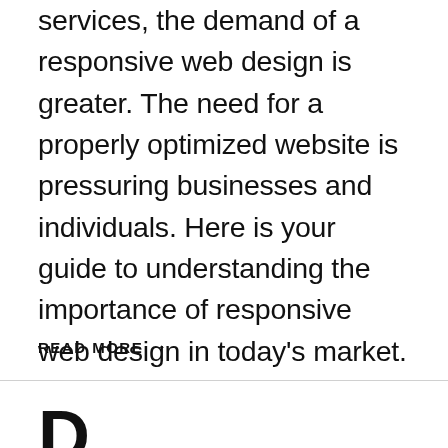services, the demand of a responsive web design is greater. The need for a properly optimized website is pressuring businesses and individuals. Here is your guide to understanding the importance of responsive web design in today's market.
READ MORE →
D... (partial large heading text visible at bottom)